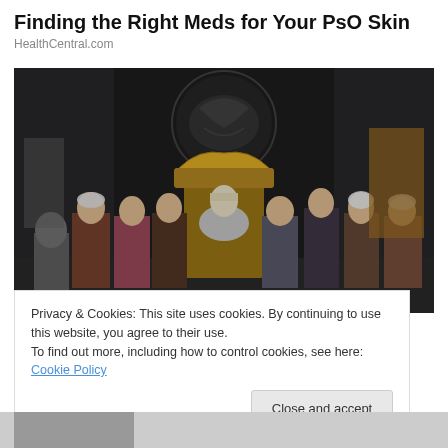Finding the Right Meds for Your PsO Skin
HealthCentral.com
[Figure (photo): Group of medieval/fantasy costumed characters standing in a throne room with a large dragon sigil on the wall behind them. A figure sits on an ornate throne in the center.]
Privacy & Cookies: This site uses cookies. By continuing to use this website, you agree to their use.
To find out more, including how to control cookies, see here: Cookie Policy
Close and accept